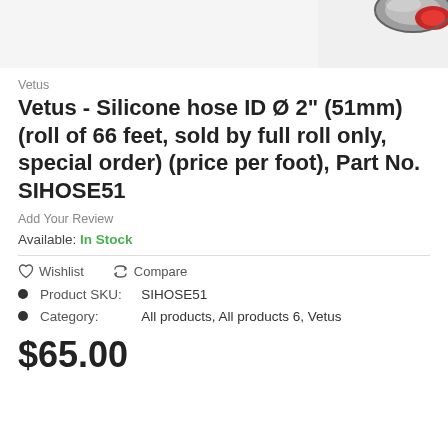[Figure (photo): Partial product image showing a silicone hose, gray and red, cropped in top-right corner]
Vetus
Vetus - Silicone hose ID Ø 2" (51mm) (roll of 66 feet, sold by full roll only, special order) (price per foot), Part No. SIHOSE51
Add Your Review
Available: In Stock
Wishlist
Compare
Product SKU:    SIHOSE51
Category:    All products, All products 6, Vetus
$65.00